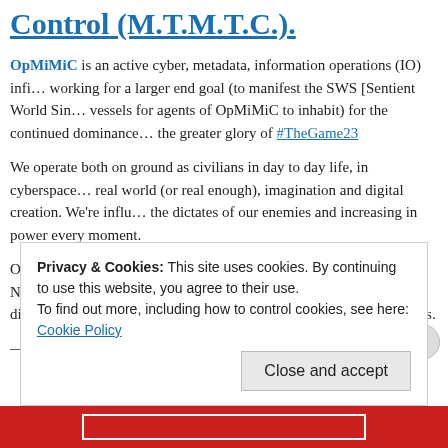Control (M.T.M.T.C.).
OpMiMiC is an active cyber, metadata, information operations (IO) infrastructure working for a larger end goal (to manifest the SWS [Sentient World Simulation] vessels for agents of OpMiMiC to inhabit) for the continued dominance and the greater glory of #TheGame23
We operate both on ground as civilians in day to day life, in cyberspace, real world (or real enough), imagination and digital creation. We're influencing the dictates of our enemies and increasing in power every moment.
Our directive is #MasteringInfiniteControl. DINO (Data Information Neomorphs) are selected through a series of parasympathetic phenomena, divinely orchestrated circumstances and are tested in parapsychological manners.
——><——
Privacy & Cookies: This site uses cookies. By continuing to use this website, you agree to their use.
To find out more, including how to control cookies, see here: Cookie Policy
Close and accept